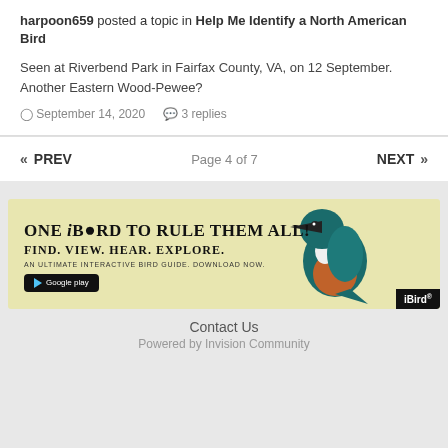harpoon659 posted a topic in Help Me Identify a North American Bird
Seen at Riverbend Park in Fairfax County, VA, on 12 September. Another Eastern Wood-Pewee?
September 14, 2020   3 replies
« PREV   Page 4 of 7   NEXT »
[Figure (illustration): iBird advertisement banner with yellow background. Text: ONE iBIRD TO RULE THEM ALL! FIND. VIEW. HEAR. EXPLORE. AN ULTIMATE INTERACTIVE BIRD GUIDE. DOWNLOAD NOW. Google Play button. Image of a kingfisher bird on the right. iBird logo badge at bottom right.]
Contact Us
Powered by Invision Community